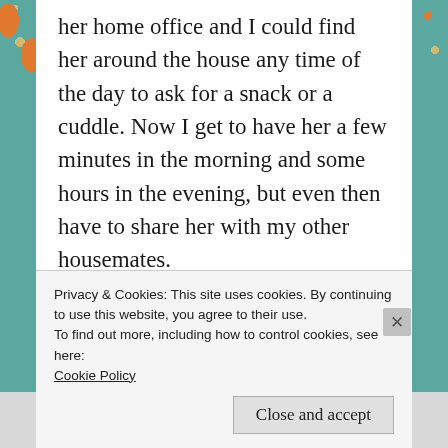her home office and I could find her around the house any time of the day to ask for a snack or a cuddle. Now I get to have her a few minutes in the morning and some hours in the evening, but even then have to share her with my other housemates.

I am a spoiled diva who got used to having exclusive time with her forever-home-family, but when my humans decided to live separate lives, I felt the loss as well. I am told
Privacy & Cookies: This site uses cookies. By continuing to use this website, you agree to their use.
To find out more, including how to control cookies, see here:
Cookie Policy